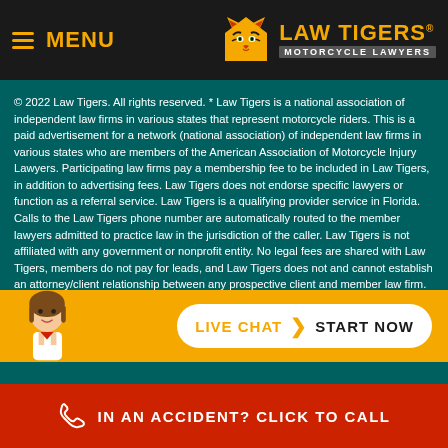MENU | LAW TIGERS MOTORCYCLE LAWYERS
© 2022 Law Tigers. All rights reserved. * Law Tigers is a national association of independent law firms in various states that represent motorcycle riders. This is a paid advertisement for a network (national association) of independent law firms in various states who are members of the American Association of Motorcycle Injury Lawyers. Participating law firms pay a membership fee to be included in Law Tigers, in addition to advertising fees. Law Tigers does not endorse specific lawyers or function as a referral service. Law Tigers is a qualifying provider service in Florida. Calls to the Law Tigers phone number are automatically routed to the member lawyers admitted to practice law in the jurisdiction of the caller. Law Tigers is not affiliated with any government or nonprofit entity. No legal fees are shared with Law Tigers, members do not pay for leads, and Law Tigers does not and cannot establish an attorney/client relationship between any prospective client and member law firm. No representation is made that the quality of the legal services to be performed is greater than the quality of legal services performed by other lawyers. Past results are not guaranteed of future outcomes, every case will be different. Parties may be responsible for costs,
[Figure (other): Live chat widget with avatar and button: LIVE CHAT > START NOW]
IN AN ACCIDENT? CLICK TO CALL